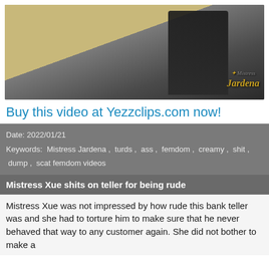[Figure (photo): A room scene with a person in black attire leaning over a dark surface. A watermark reads 'Mistress Jardena' in gold italic text.]
Buy this video at Yezzclips.com now!
Date: 2022/01/21
Keywords:  Mistress Jardena ,  turds ,  ass ,  femdom ,  creamy ,  shit ,  dump ,  scat femdom videos
Mistress Xue shits on teller for being rude
Mistress Xue was not impressed by how rude this bank teller was and she had to torture him to make sure that he never behaved that way to any customer again. She did not bother to make a